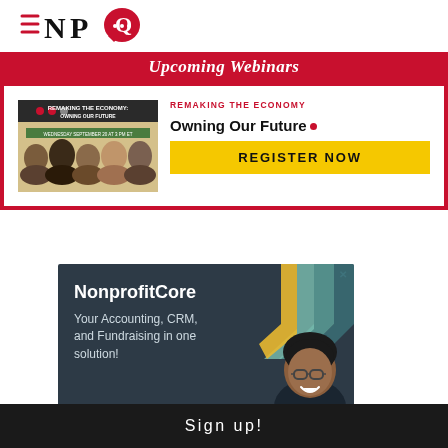[Figure (logo): NPQ (Nonprofit Quarterly) logo with hamburger menu icon, letters N, P, Q and a red speech bubble with three dots]
Upcoming Webinars
[Figure (photo): Webinar thumbnail for Remaking The Economy: Owning Our Future, showing panel of speakers]
REMAKING THE ECONOMY
Owning Our Future
REGISTER NOW
[Figure (advertisement): NonprofitCore advertisement with dark blue-grey background, colorful chevrons, and a smiling person with glasses. Text: NonprofitCore - Your Accounting, CRM, and Fundraising in one solution!]
Sign up!